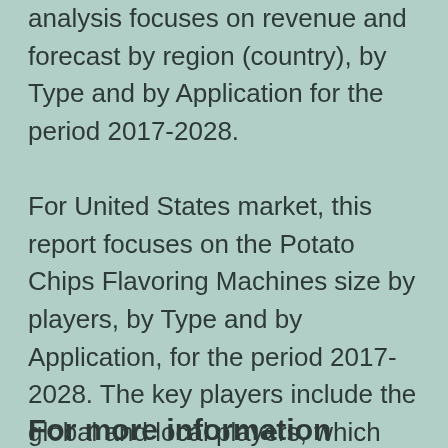analysis focuses on revenue and forecast by region (country), by Type and by Application for the period 2017-2028.
For United States market, this report focuses on the Potato Chips Flavoring Machines size by players, by Type and by Application, for the period 2017-2028. The key players include the global and local players, which play important roles in United States.
For more information about